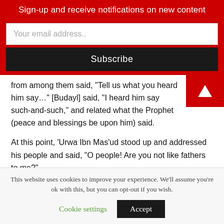Sign-up and receive notifications on new content
from among them said, “Tell us what you heard him say…” [Budayl] said, “I heard him say such-and-such,” and related what the Prophet (peace and blessings be upon him) said.
At this point, ‘Urwa Ibn Mas’ud stood up and addressed his people and said, “O people! Are you not like fathers to me?” “Yes,” they replied.
He asked, “Am I not like a son to you?”
“Yes,” they replied.
He then asked them, “Do you suspect me?”
This website uses cookies to improve your experience. We’ll assume you’re ok with this, but you can opt-out if you wish.
Cookie settings   Accept